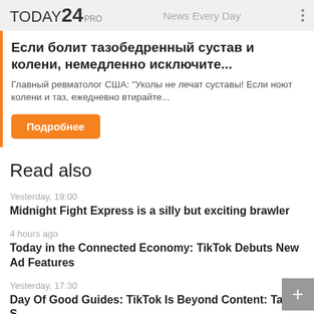TODAY24 PRO   News Every Day
Если болит тазобедренный сустав и колени, немедленно исключите...
Главный ревматолог США: "Уколы не лечат суставы! Если ноют колени и таз, ежедневно втирайте..."
Подробнее
Read also
Yesterday, 19:00
Midnight Fight Express is a silly but exciting brawler
4 hours ago
Today in the Connected Economy: TikTok Debuts New Ad Features
Yesterday, 17:30
Day Of Good Guides: TikTok Is Beyond Content: Tab S...